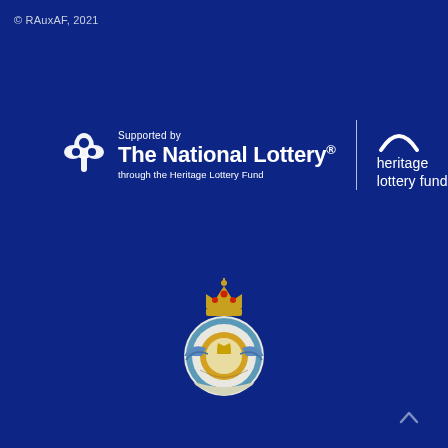© RAuxAF, 2021
[Figure (logo): National Lottery and Heritage Lottery Fund logos side by side with divider line. Left: lottery clover symbol, 'Supported by', 'The National Lottery®', 'through the Heritage Lottery Fund'. Right: Heritage Lottery Fund logo with arc symbol and text 'heritage lottery fund'.]
[Figure (logo): Royal Auxiliary Air Force badge/crest - circular badge with crown on top, wings, and motto scroll at bottom, on dark blue background.]
[Figure (other): Navigation up arrow chevron in bottom right corner.]